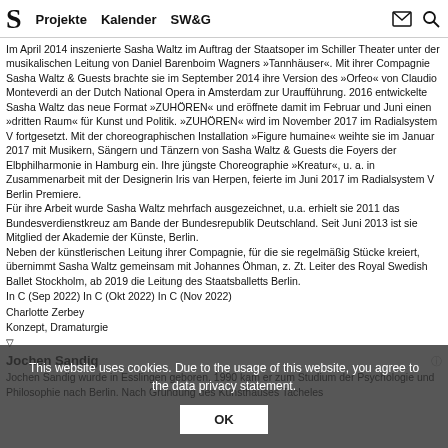S  Projekte  Kalender  SW&G
Im April 2014 inszenierte Sasha Waltz im Auftrag der Staatsoper im Schiller Theater unter der musikalischen Leitung von Daniel Barenboim Wagners »Tannhäuser«. Mit ihrer Compagnie Sasha Waltz & Guests brachte sie im September 2014 ihre Version des »Orfeo« von Claudio Monteverdi an der Dutch National Opera in Amsterdam zur Uraufführung. 2016 entwickelte Sasha Waltz das neue Format »ZUHÖREN« und eröffnete damit im Februar und Juni einen »dritten Raum« für Kunst und Politik. »ZUHÖREN« wird im November 2017 im Radialsystem V fortgesetzt. Mit der choreographischen Installation »Figure humaine« weihte sie im Januar 2017 mit Musikern, Sängern und Tänzern von Sasha Waltz & Guests die Foyers der Elbphilharmonie in Hamburg ein. Ihre jüngste Choreographie »Kreatur«, u. a. in Zusammenarbeit mit der Designerin Iris van Herpen, feierte im Juni 2017 im Radialsystem V Berlin Premiere. Für ihre Arbeit wurde Sasha Waltz mehrfach ausgezeichnet, u.a. erhielt sie 2011 das Bundesverdienstkreuz am Bande der Bundesrepublik Deutschland. Seit Juni 2013 ist sie Mitglied der Akademie der Künste, Berlin. Neben der künstlerischen Leitung ihrer Compagnie, für die sie regelmäßig Stücke kreiert, übernimmt Sasha Waltz gemeinsam mit Johannes Öhman, z. Zt. Leiter des Royal Swedish Ballet Stockholm, ab 2019 die Leitung des Staatsballetts Berlin.
In C (Sep 2022) In C (Okt 2022) In C (Nov 2022)
Charlotte Zerbey
Konzept, Dramaturgie
▽
Jochen Sandig
Jochen Sandig wurde in Esslingen geboren. 1990 kam er zum Studium der Psychologie und Philosophie nach Berlin. Nach Gründung des Kunsthauses Tacheles 1990 gründete er die Sophienstraße in Berlin-Mitte als freie Produktionsstätte für Tanz und Theater, die er bis Ende 1999 leitete. Von 2000 bis 2004 war Jochen Sandig Mitglied der Künstlerischen Leitung und Dramaturgie an der Schaubühne am Lehniner Platz Berlin. Seit 2004 ist er Direktor der Sasha Waltz & Guests GmbH. Gemeinsam gründeten Jochen Sandig und der Musikmanager Folkert Uhde das Radialsystem V, welches 2006 eröffnet wurde und dessen Gesellschafter und Künstlerischer Ko-Leiter er ist. 2010 wurden zum Chevalier
This website uses cookies. Due to the usage of this website, you agree to the data privacy statement.
OK